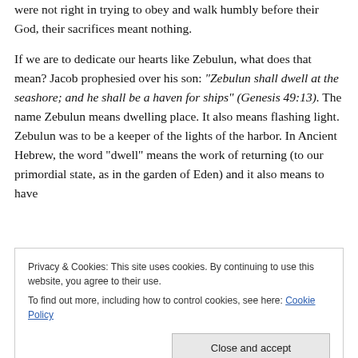controls that which is on the inside. If the Israelites hearts were not right in trying to obey and walk humbly before their God, their sacrifices meant nothing.
If we are to dedicate our hearts like Zebulun, what does that mean? Jacob prophesied over his son: “Zebulun shall dwell at the seashore; and he shall be a haven for ships” (Genesis 49:13). The name Zebulun means dwelling place. It also means flashing light. Zebulun was to be a keeper of the lights of the harbor. In Ancient Hebrew, the word “dwell” means the work of returning (to our primordial state, as in the garden of Eden) and it also means to have
Privacy & Cookies: This site uses cookies. By continuing to use this website, you agree to their use.
To find out more, including how to control cookies, see here: Cookie Policy
Close and accept
If we are to dedicate our hearts like Zebulun, what does that mean? Jacob prophesied over his son: “Zebulun shall dwell at the seashore; and he shall be a haven for ships” (Genesis 49:13). The name Zebulun means dwelling...